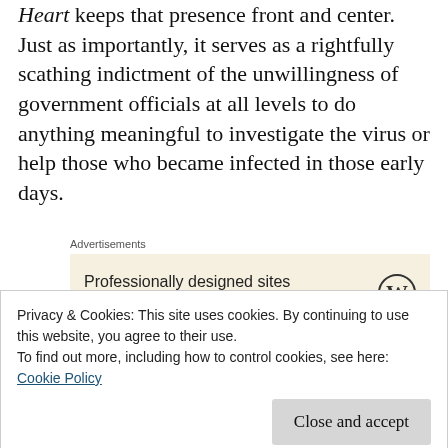Heart keeps that presence front and center. Just as importantly, it serves as a rightfully scathing indictment of the unwillingness of government officials at all levels to do anything meaningful to investigate the virus or help those who became infected in those early days.
Advertisements
[Figure (other): WordPress advertisement banner: 'Professionally designed sites in less than a week' with WordPress logo]
Furthermore, the film highlights the ways in which AIDS highlighted both the benefits and the
Privacy & Cookies: This site uses cookies. By continuing to use this website, you agree to their use. To find out more, including how to control cookies, see here: Cookie Policy
Close and accept
Heart forces us to continue thinking about the